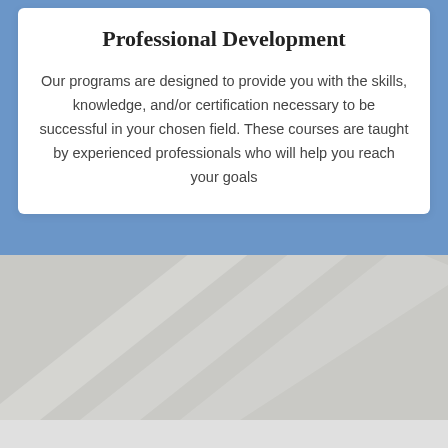Professional Development
Our programs are designed to provide you with the skills, knowledge, and/or certification necessary to be successful in your chosen field. These courses are taught by experienced professionals who will help you reach your goals
[Figure (illustration): Blue background section with a white rounded card at the top, followed by a gray diagonal striped/angled decorative section below, and a light gray strip at the bottom.]